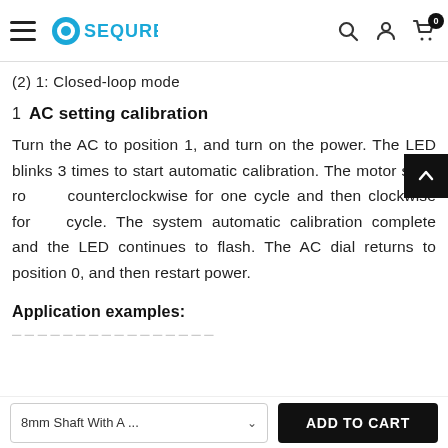SEQURE — navigation bar with search, account, and cart icons
(2) 1:  Closed-loop mode
1  AC setting calibration
Turn the AC to position 1, and turn on the power. The LED blinks 3 times to start automatic calibration. The motor shaft rotates counterclockwise for one cycle and then clockwise for one cycle. The system automatic calibration complete and the LED continues to flash. The AC dial returns to position 0, and then restart power.
Application examples:
8mm Shaft With A ...  ∨   ADD TO CART